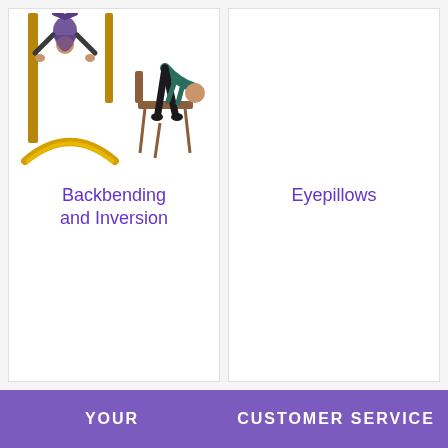[Figure (photo): Two yoga/inversion poses: person doing headstand in doorway, and person bending over a chair]
Backbending and Inversion
[Figure (illustration): Empty card area for Eyepillows category]
Eyepillows
YOUR    CUSTOMER SERVICE